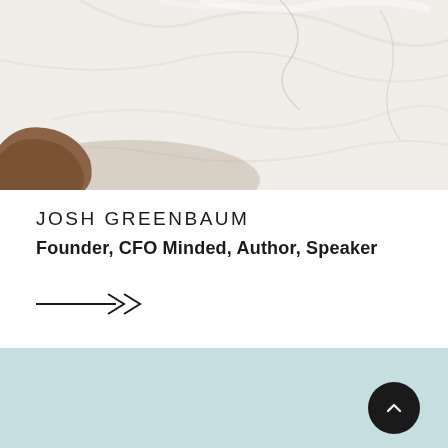[Figure (photo): Close-up photo of white fluffy textile/fabric (towel or blanket) with a dark-skinned arm/hand visible at the bottom left corner]
JOSH GREENBAUM
Founder, CFO Minded, Author, Speaker
[Figure (illustration): Arrow icon pointing right with double chevron (→»)]
[Figure (illustration): Light teal/mint colored background section with a dark circular scroll-to-top button in the bottom right containing an upward chevron]